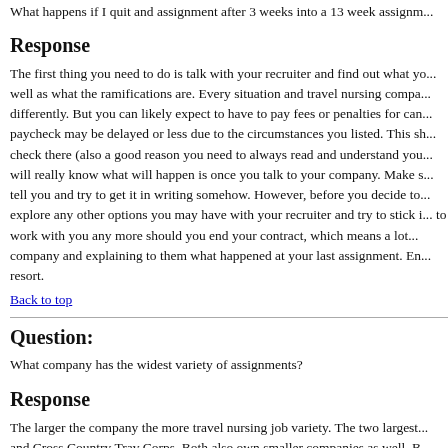What happens if I quit and assignment after 3 weeks into a 13 week assignm...
Response
The first thing you need to do is talk with your recruiter and find out what yo... well as what the ramifications are. Every situation and travel nursing compa... differently. But you can likely expect to have to pay fees or penalties for can... paycheck may be delayed or less due to the circumstances you listed. This sh... check there (also a good reason you need to always read and understand you... will really know what will happen is once you talk to your company. Make s... tell you and try to get it in writing somehow. However, before you decide to... explore any other options you may have with your recruiter and try to stick i... to work with you any more should you end your contract, which means a lot... company and explaining to them what happened at your last assignment. En... resort.
Back to top
Question:
What company has the widest variety of assignments?
Response
The larger the company the more travel nursing job variety. The two largest... and Cross Country Trav Corps. Both also own smaller companies as well. B... after then they are the companies you would want to look at. Some other lar... include Fastaff, RN Network, Aureus and Medical Solutions.